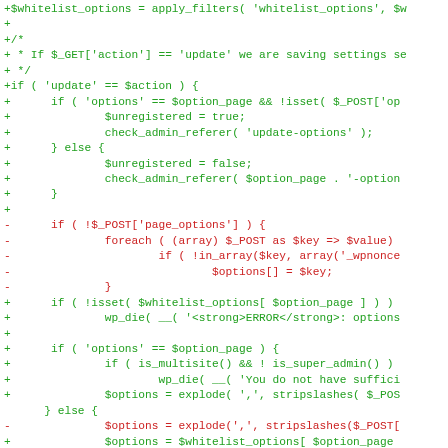[Figure (screenshot): A code diff snippet showing PHP code changes. Green lines (prefixed with +) show added code, red lines (prefixed with -) show removed code. The code appears to be a WordPress options/settings update handler.]